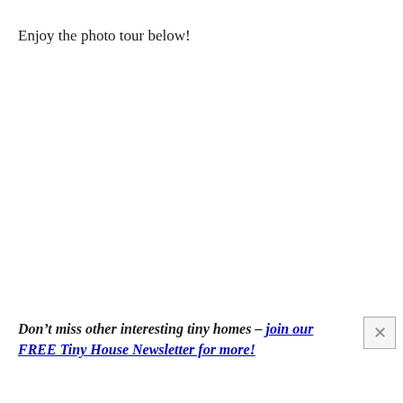Enjoy the photo tour below!
Don’t miss other interesting tiny homes – join our FREE Tiny House Newsletter for more!